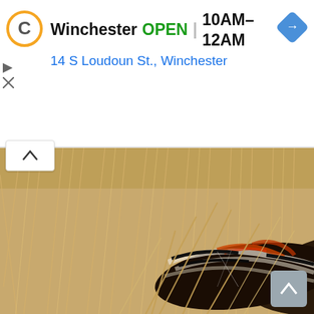Winchester  OPEN  10AM–12AM
14 S Loudoun St., Winchester
[Figure (photo): Close-up macro photograph of a moth or caterpillar camouflaged among dry grass/hay strands, showing striped black, white, orange markings]
lushome.com
[Figure (photo): A small black painted rock with a cat face design — pink triangle ears, white flower-shaped eyes/nose, on a light blue background]